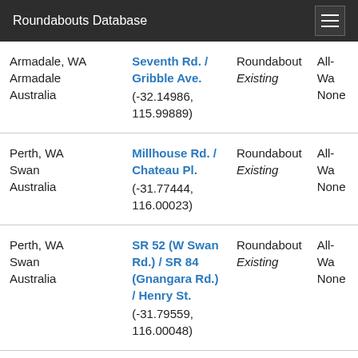Roundabouts Database
| Location | Intersection | Type/Status | Access |
| --- | --- | --- | --- |
| Armadale, WA
Armadale
Australia | Seventh Rd. / Gribble Ave.
(-32.14986, 115.99889) | Roundabout
Existing | All-Wa
None |
| Perth, WA
Swan
Australia | Millhouse Rd. / Chateau Pl.
(-31.77444, 116.00023) | Roundabout
Existing | All-Wa
None |
| Perth, WA
Swan
Australia | SR 52 (W Swan Rd.) / SR 84 (Gnangara Rd.) / Henry St.
(-31.79559, 116.00048) | Roundabout
Existing | All-Wa
None |
| Maddington, WA
Gosnells
Australia | Kelvin Rd. / Kenwick Rd.
(-32.03393, 116.00120) | Roundabout
Existing | All-Wa
None |